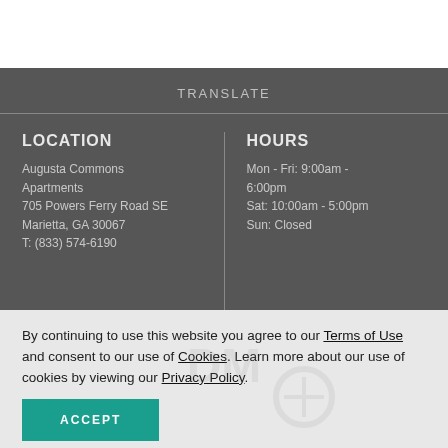TRANSLATE
LOCATION
Augusta Commons Apartments
705 Powers Ferry Road SE
Marietta, GA 30067
T: (833) 574-6190
HOURS
Mon - Fri: 9:00am - 6:00pm
Sat: 10:00am - 5:00pm
Sun: Closed
By continuing to use this website you agree to our Terms of Use and consent to our use of Cookies. Learn more about our use of cookies by viewing our Privacy Policy.
ACCEPT